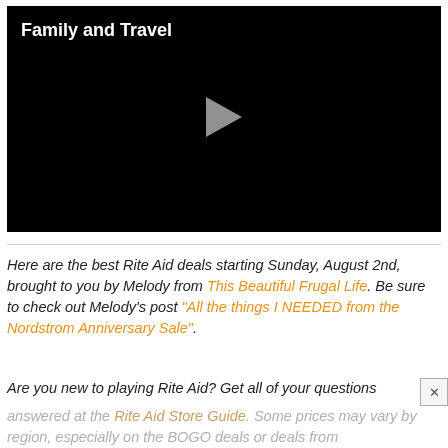[Figure (screenshot): Black video player with title 'Family and Travel' in white text at top-left, and a grey play button triangle in the center.]
Here are the best Rite Aid deals starting Sunday, August 2nd, brought to you by Melody from This Beautiful Frugal Life. Be sure to check out Melody's post "All the things I NEEDED from the Nordstrom Anniversary Sale".
Are you new to playing Rite Aid? Get all of your questions answered at the Rite Aid Store Guide. Some prices may vary by region, especially on the BOGO deals or deals from